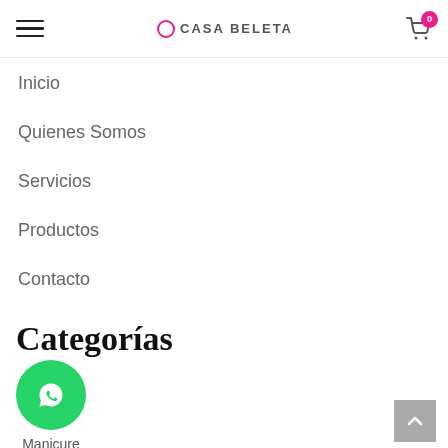CASA BELETA — navigation header with hamburger menu and cart icon (badge: 0)
Inicio
Quienes Somos
Servicios
Productos
Contacto
Categorías
[Figure (logo): WhatsApp green circle button icon]
Manicure